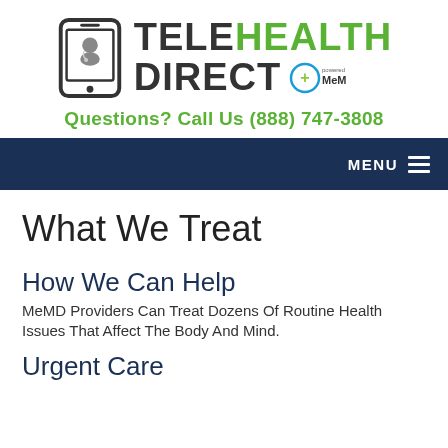[Figure (logo): TeleHealth Direct powered by MeMD logo with smartphone icon showing a doctor]
Questions? Call Us (888) 747-3808
MENU
What We Treat
How We Can Help
MeMD Providers Can Treat Dozens Of Routine Health Issues That Affect The Body And Mind.
Urgent Care